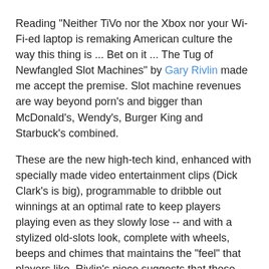Reading "Neither TiVo nor the Xbox nor your Wi-Fi-ed laptop is remaking American culture the way this thing is ... Bet on it ... The Tug of Newfangled Slot Machines" by Gary Rivlin made me accept the premise. Slot machine revenues are way beyond porn's and bigger than McDonald's, Wendy's, Burger King and Starbuck's combined.
These are the new high-tech kind, enhanced with specially made video entertainment clips (Dick Clark's is big), programmable to dribble out winnings at an optimal rate to keep players playing even as they slowly lose -- and with a stylized old-slots look, complete with wheels, beeps and chimes that maintains the "feel" that players like. Rivlin's piece suggests that these devices have the same hold on the beyond-60s set that video games have on younger people.
"The makers of slot machines may rely on the lure of life-changing jackpots to attract customers but the machines' ability to hook so deeply into a player's cerebral cortex derives from the more powerful human feedback